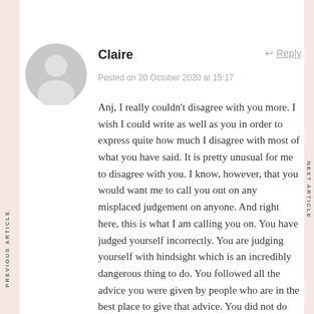PREVIOUS ARTICLE
NEXT ARTICLE
Claire
Posted on 20 October 2020 at 15:17
Anj, I really couldn't disagree with you more. I wish I could write as well as you in order to express quite how much I disagree with most of what you have said. It is pretty unusual for me to disagree with you. I know, however, that you would want me to call you out on any misplaced judgement on anyone. And right here, this is what I am calling you on. You have judged yourself incorrectly. You are judging yourself with hindsight which is an incredibly dangerous thing to do. You followed all the advice you were given by people who are in the best place to give that advice. You did not do the wrong thing in trusting that advice. You don't have